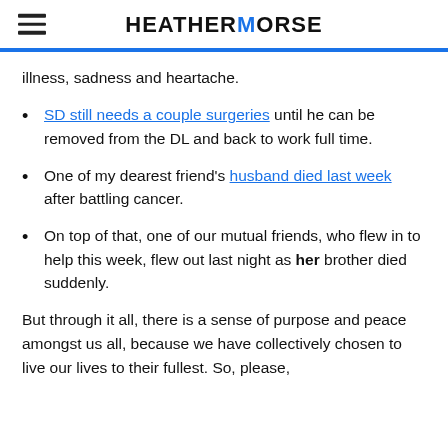HEATHERMORSE
illness, sadness and heartache.
SD still needs a couple surgeries until he can be removed from the DL and back to work full time.
One of my dearest friend's husband died last week after battling cancer.
On top of that, one of our mutual friends, who flew in to help this week, flew out last night as her brother died suddenly.
But through it all, there is a sense of purpose and peace amongst us all, because we have collectively chosen to live our lives to their fullest. So, please,